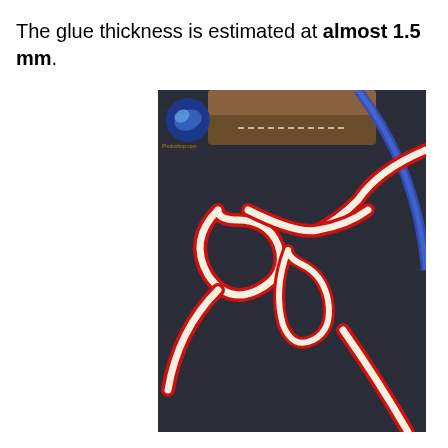The glue thickness is estimated at almost 1.5 mm.
[Figure (photo): Close-up photograph of a red, white, and blue shoelace tied in a knot on dark denim fabric. A small logo watermark is visible in the top-left corner of the image.]